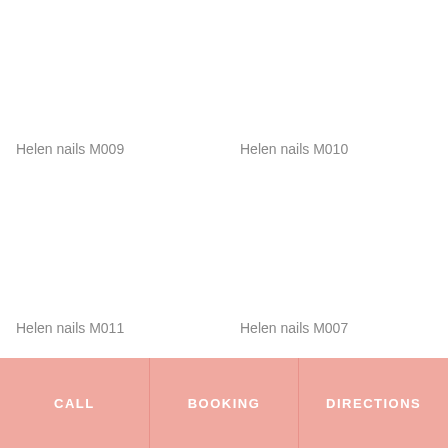Helen nails M009
Helen nails M010
Helen nails M011
Helen nails M007
CALL
BOOKING
DIRECTIONS